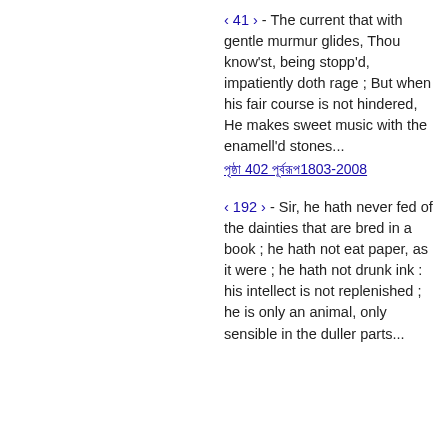‹ 41 › - The current that with gentle murmur glides, Thou know'st, being stopp'd, impatiently doth rage ; But when his fair course is not hindered, He makes sweet music with the enamell'd stones...
পৃষ্ঠা 402 পূর্বরূপ1803-2008
‹ 192 › - Sir, he hath never fed of the dainties that are bred in a book ; he hath not eat paper, as it were ; he hath not drunk ink : his intellect is not replenished ; he is only an animal, only sensible in the duller parts...